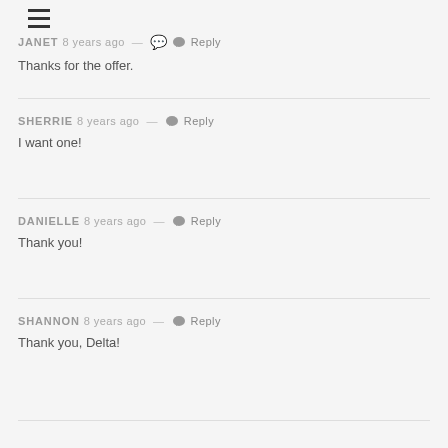[Figure (other): Hamburger menu icon (three horizontal lines)]
JANET 8 years ago — Reply
Thanks for the offer.
SHERRIE 8 years ago — Reply
I want one!
DANIELLE 8 years ago — Reply
Thank you!
SHANNON 8 years ago — Reply
Thank you, Delta!